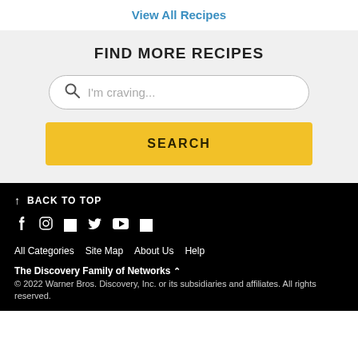View All Recipes
FIND MORE RECIPES
[Figure (screenshot): Search input box with placeholder text 'I'm craving...' and a magnifying glass icon]
SEARCH
↑ BACK TO TOP
[Figure (infographic): Social media icons: Facebook, Instagram, Pinterest (white square), Twitter, YouTube, TikTok (white square)]
All Categories
Site Map
About Us
Help
The Discovery Family of Networks ^
© 2022 Warner Bros. Discovery, Inc. or its subsidiaries and affiliates. All rights reserved.